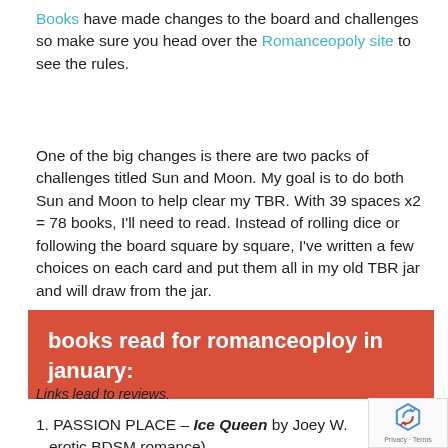Books have made changes to the board and challenges so make sure you head over the Romanceopoly site to see the rules.
One of the big changes is there are two packs of challenges titled Sun and Moon. My goal is to do both Sun and Moon to help clear my TBR. With 39 spaces x2 = 78 books, I'll need to read. Instead of rolling dice or following the board square by square, I've written a few choices on each card and put them all in my old TBR jar and will draw from the jar.
books read for romanceoploy in january:
Links lead to reviews.
1. PASSION PLACE – Ice Queen by Joey W. – erotic BDSM romance)